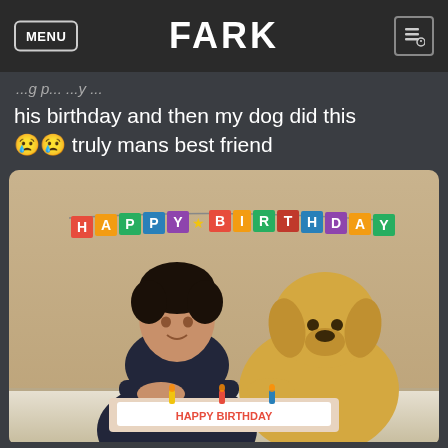FARK
his birthday and then my dog did this 😢😢 truly mans best friend
[Figure (photo): A man and a yellow Labrador dog sitting at a table with a birthday cake. A colorful 'HAPPY BIRTHDAY' banner hangs behind them. The dog has its paw on the table. The man is smiling and wearing a dark shirt.]